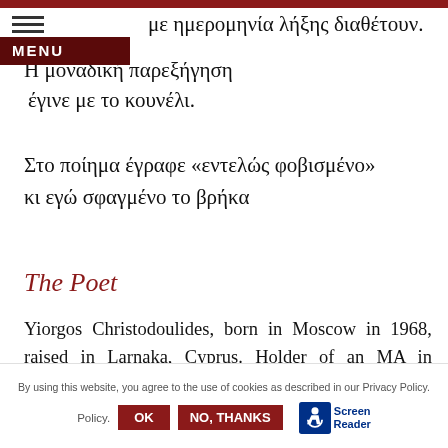με ημερομηνία λήξης διαθέτουν.
Η μοναδική παρεξήγηση
έγινε με το κουνέλι.
Στο ποίημα έγραφε «εντελώς φοβισμένο»
κι εγώ σφαγμένο το βρήκα
The Poet
Yiorgos Christodoulides, born in Moscow in 1968, raised in Larnaka, Cyprus. Holder of an MA in Journalism (Lomonosov University, Moscow). He
By using this website, you agree to the use of cookies as described in our Privacy Policy.